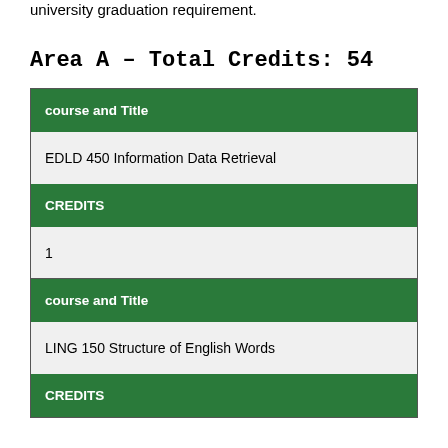university graduation requirement.
Area A – Total Credits: 54
| course and Title | CREDITS |
| --- | --- |
| EDLD 450 Information Data Retrieval | 1 |
| course and Title | CREDITS |
| --- | --- |
| LING 150 Structure of English Words |  |